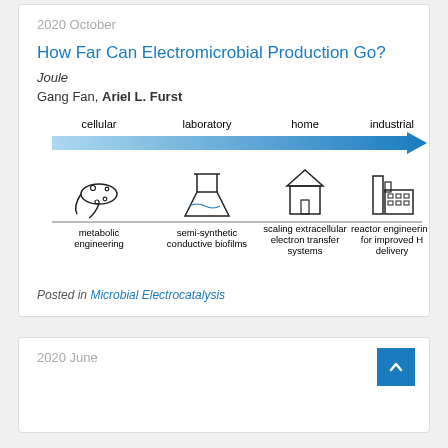2020 October
How Far Can Electromicrobial Production Go?
Joule
Gang Fan, Ariel L. Furst
[Figure (infographic): A horizontal arrow from light blue to dark blue labeled with four scales: cellular, laboratory, home, industrial. Below each label is an icon: a microbe (metabolic engineering), a flask (semi-synthetic conductive biofilms), a house (scaling extracellular electron transfer systems), and an industrial building (reactor engineering for improved H2 delivery).]
Posted in Microbial Electrocatalysis
2020 June